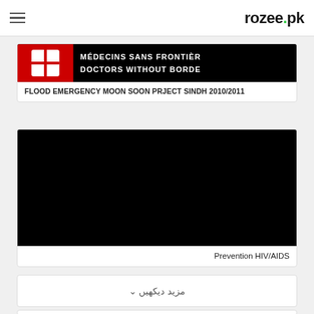rozee.pk
[Figure (screenshot): Médecins Sans Frontières / Doctors Without Borders logo image (cropped, bold text on dark background)]
FLOOD EMERGENCY MOON SOON PRJECT SINDH 2010/2011
[Figure (photo): Dark background with a glowing blue-green globe/earth shape at the bottom, representing HIV/AIDS prevention campaign]
Prevention HIV/AIDS
مزید دیکھیں ∨